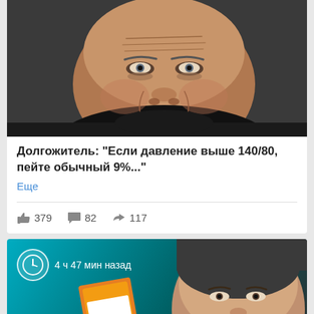[Figure (photo): Close-up portrait of an elderly person with a serious expression, dark background]
Долгожитель: "Если давление выше 140/80, пейте обычный 9%..."
Еще
👍 379   💬 82   ↪ 117
[Figure (photo): Article thumbnail showing a middle-aged man with a box of baking soda (Сода харчова), teal background, with timestamp overlay '4 ч 47 мин назад']